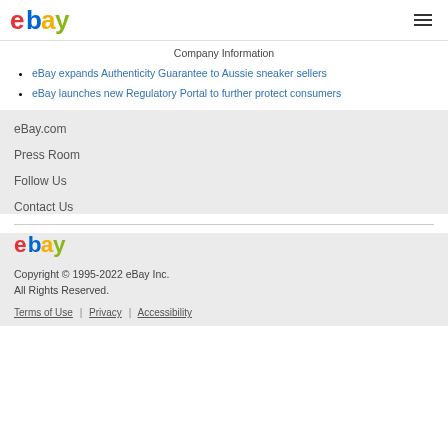eBay logo and hamburger menu
Company Information
eBay expands Authenticity Guarantee to Aussie sneaker sellers
eBay launches new Regulatory Portal to further protect consumers
eBay.com
Press Room
Follow Us
Contact Us
[Figure (logo): eBay logo in footer]
Copyright © 1995-2022 eBay Inc. All Rights Reserved.
Terms of Use | Privacy | Accessibility